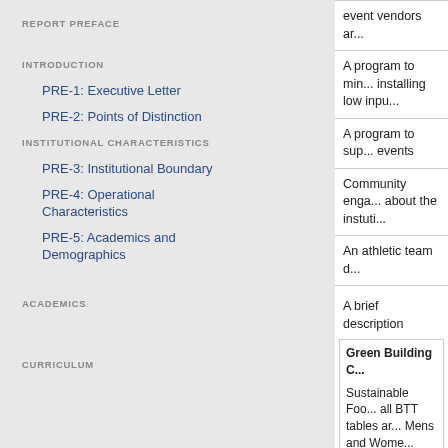REPORT PREFACE
INTRODUCTION
PRE-1: Executive Letter
PRE-2: Points of Distinction
INSTITUTIONAL CHARACTERISTICS
PRE-3: Institutional Boundary
PRE-4: Operational Characteristics
PRE-5: Academics and Demographics
ACADEMICS
CURRICULUM
event vendors ar...
A program to min... installing low inpu...
A program to sup... events
Community enga... about the institu...
An athletic team d...
A brief description
Green Building C...
Sustainable Foo... all BTT tables ar... Mens and Wome...
• List of products...
• Round Paper P...
• Forks, Knifes &...
• Banana Leaf P...